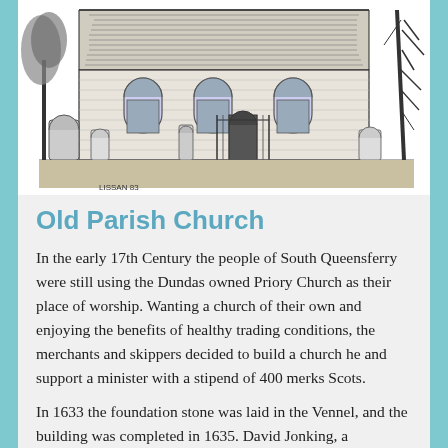[Figure (illustration): Black and white pen-and-ink illustration of Old Parish Church, showing the stone church building with arched windows, a pitched roof, and a graveyard in the foreground with headstones and trees.]
Old Parish Church
In the early 17th Century the people of South Queensferry were still using the Dundas owned Priory Church as their place of worship. Wanting a church of their own and enjoying the benefits of healthy trading conditions, the merchants and skippers decided to build a church he and support a minister with a stipend of 400 merks Scots.
In 1633 the foundation stone was laid in the Vennel, and the building was completed in 1635. David Jonking, a Dutchman who was a merchant in Edinburgh gifted a bell which was cast and fashioned by Michael Burgerhaus in Holland, to the town. King Charles I granted a Charter...